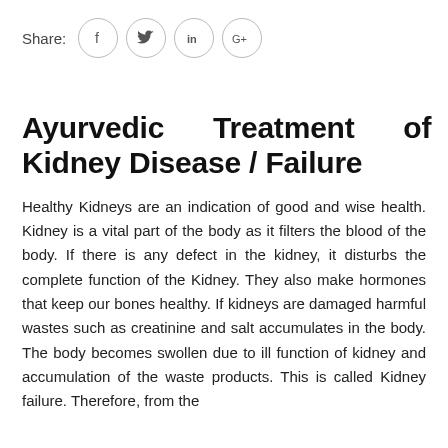Share: [social icons: Facebook, Twitter, LinkedIn, Google+]
Ayurvedic Treatment of Kidney Disease / Failure
Healthy Kidneys are an indication of good and wise health. Kidney is a vital part of the body as it filters the blood of the body. If there is any defect in the kidney, it disturbs the complete function of the Kidney. They also make hormones that keep our bones healthy. If kidneys are damaged harmful wastes such as creatinine and salt accumulates in the body. The body becomes swollen due to ill function of kidney and accumulation of the waste products. This is called Kidney failure. Therefore, from the